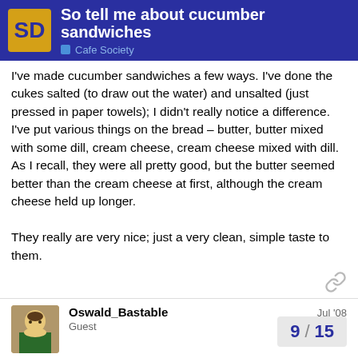So tell me about cucumber sandwiches | Cafe Society
I've made cucumber sandwiches a few ways. I've done the cukes salted (to draw out the water) and unsalted (just pressed in paper towels); I didn't really notice a difference. I've put various things on the bread – butter, butter mixed with some dill, cream cheese, cream cheese mixed with dill. As I recall, they were all pretty good, but the butter seemed better than the cream cheese at first, although the cream cheese held up longer.

They really are very nice; just a very clean, simple taste to them.
Oswald_Bastable
Guest
Jul '08
Cowgirl Jules:
My (English) grandmother used to make